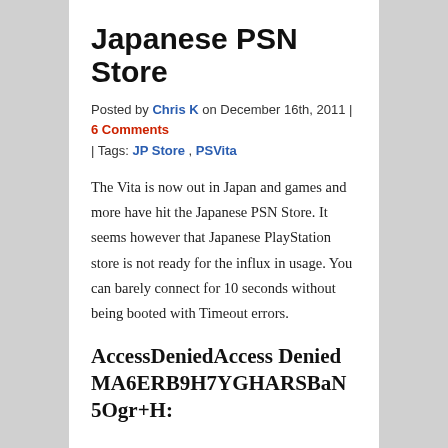Japanese PSN Store
Posted by Chris K on December 16th, 2011 | 6 Comments
| Tags: JP Store , PSVita
The Vita is now out in Japan and games and more have hit the Japanese PSN Store. It seems however that Japanese PlayStation store is not ready for the influx in usage. You can barely connect for 10 seconds without being booted with Timeout errors.
AccessDeniedAccess DeniedMA6ERB9H7YGHARSBaN5Ogr+H: